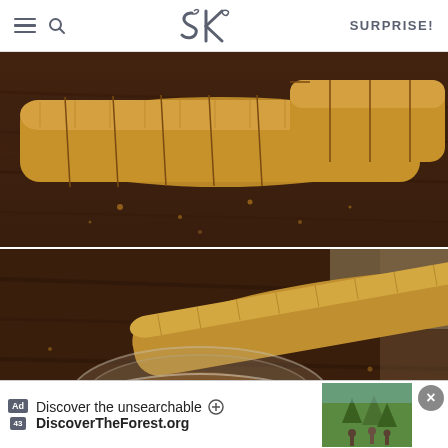SK | SURPRISE!
[Figure (photo): Sliced biscotti or shortbread cookies arranged on a dark wooden cutting board, showing golden-brown baked goods with crumbs scattered around, photographed from above at an angle.]
[Figure (photo): Close-up of a biscotti cookie on a dark wooden board next to a small glass bowl containing cinnamon sugar or spice mixture, with warm brown tones and bokeh background.]
Discover the unsearchable
DiscoverTheForest.org